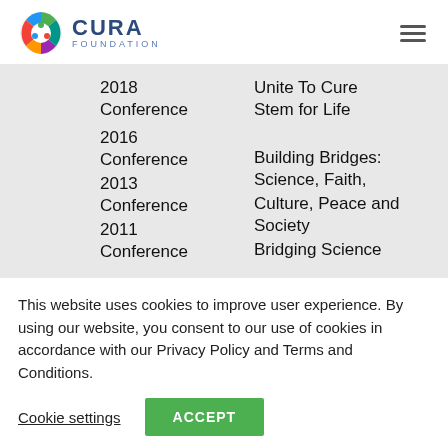[Figure (logo): CURA Foundation logo with colorful circle icon and text CURA FOUNDATION]
| 2018 Conference | Unite To Cure |
| 2016 Conference | Stem for Life |
| 2013 Conference | Building Bridges: Science, Faith, Culture, Peace and Society |
| 2011 Conference | Bridging Science |
This website uses cookies to improve user experience. By using our website, you consent to our use of cookies in accordance with our Privacy Policy and Terms and Conditions.
Cookie settings
ACCEPT